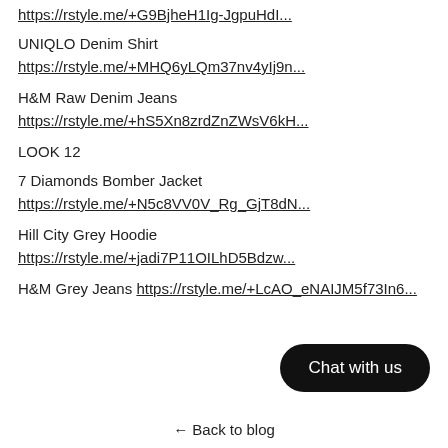https://rstyle.me/+G9BjheH1Ig-JgpuHdI...
UNIQLO Denim Shirt
https://rstyle.me/+MHQ6yLQm37nv4yIj9n...
H&M Raw Denim Jeans
https://rstyle.me/+hS5Xn8zrdZnZWsV6kH...
LOOK 12
7 Diamonds Bomber Jacket
https://rstyle.me/+N5c8VV0V_Rg_GjT8dN...
Hill City Grey Hoodie
https://rstyle.me/+jadi7P11OILhD5Bdzw...
H&M Grey Jeans https://rstyle.me/+LcAO_eNAIJM5f73In6...
Chat with us
← Back to blog